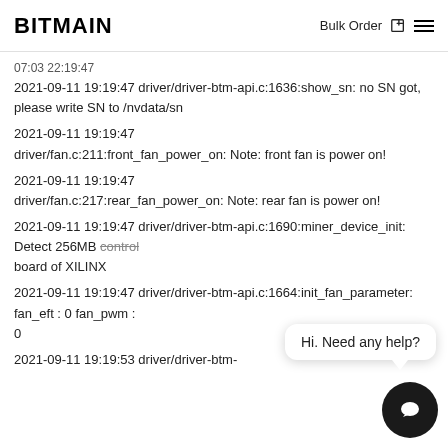BITMAIN  Bulk Order ☑ ≡
2021-09-11 19:19:47 driver/driver-btm-api.c:1636:show_sn: no SN got, please write SN to /nvdata/sn
2021-09-11 19:19:47 driver/fan.c:211:front_fan_power_on: Note: front fan is power on!
2021-09-11 19:19:47 driver/fan.c:217:rear_fan_power_on: Note: rear fan is power on!
2021-09-11 19:19:47 driver/driver-btm-api.c:1690:miner_device_init: Detect 256MB control board of XILINX
2021-09-11 19:19:47 driver/driver-btm-api.c:1664:init_fan_parameter: fan_eft : 0 fan_pwm : 0
2021-09-11 19:19:53 driver/driver-btm-